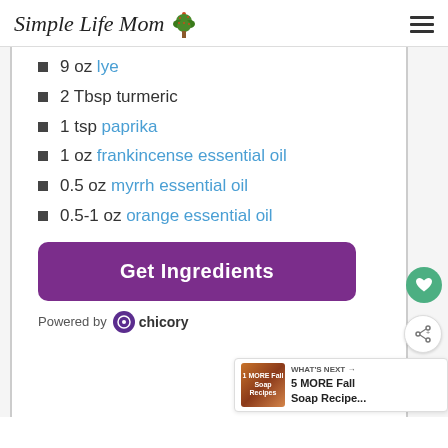Simple Life Mom
9 oz lye
2 Tbsp turmeric
1 tsp paprika
1 oz frankincense essential oil
0.5 oz myrrh essential oil
0.5-1 oz orange essential oil
Get Ingredients
Powered by chicory
WHAT'S NEXT → 5 MORE Fall Soap Recipe...